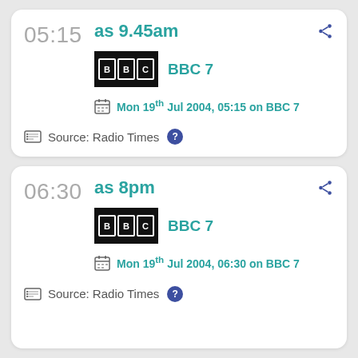05:15
as 9.45am
[Figure (logo): BBC logo black background white text]
BBC 7
Mon 19th Jul 2004, 05:15 on BBC 7
Source: Radio Times ?
06:30
as 8pm
[Figure (logo): BBC logo black background white text]
BBC 7
Mon 19th Jul 2004, 06:30 on BBC 7
Source: Radio Times ?